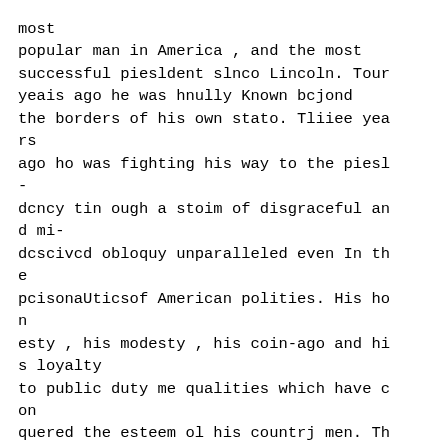most
popular man in America , and the most
successful piesldent slnco Lincoln. Tour
yeais ago he was hnully Known bcjond
the borders of his own stato. Tliiee yea
rs
ago ho was fighting his way to the piesl
-
dcncy tin ough a stoim of disgraceful an
d mi-
dcscivcd obloquy unparalleled even In th
e
pcisonaUticsof American polities. His ho
n
esty , his modesty , his coin-ago and hi
s loyalty
to public duty me qualities which have c
on
quered the esteem ol his countrj men. Th